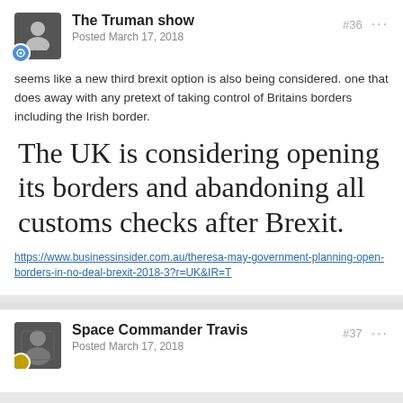The Truman show
Posted March 17, 2018
#36
seems like a new third brexit option is also being considered. one that does away with any pretext of taking control of Britains borders including the Irish border.
The UK is considering opening its borders and abandoning all customs checks after Brexit.
https://www.businessinsider.com.au/theresa-may-government-planning-open-borders-in-no-deal-brexit-2018-3?r=UK&IR=T
Space Commander Travis
Posted March 17, 2018
#37